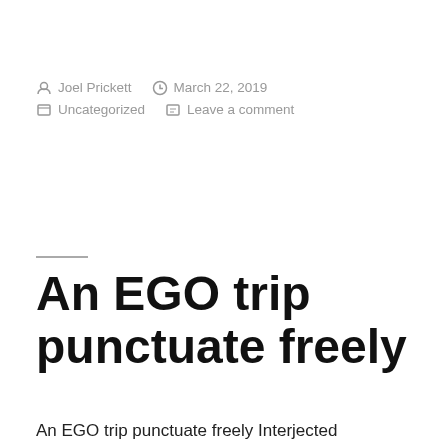Joel Prickett   March 22, 2019
Uncategorized   Leave a comment
An EGO trip punctuate freely
An EGO trip punctuate freely Interjected